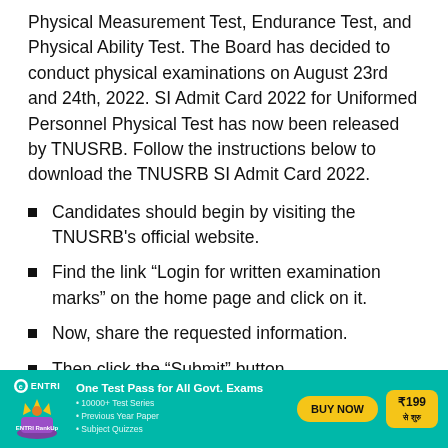Physical Measurement Test, Endurance Test, and Physical Ability Test. The Board has decided to conduct physical examinations on August 23rd and 24th, 2022. SI Admit Card 2022 for Uniformed Personnel Physical Test has now been released by TNUSRB. Follow the instructions below to download the TNUSRB SI Admit Card 2022.
Candidates should begin by visiting the TNUSRB's official website.
Find the link “Login for written examination marks” on the home page and click on it.
Now, share the requested information.
Then click the “Submit” button.
The admit card will now be displayed in a new tab and
[Figure (infographic): ENTRI advertisement banner with teal background. Shows ENTRI RankUp branding, 'One Test Pass for All Govt. Exams', bullet points: 10000+ Test Series, Previous Year Paper, Subject Quizzes, a yellow BUY NOW button, and price ₹199 से शुरु.]